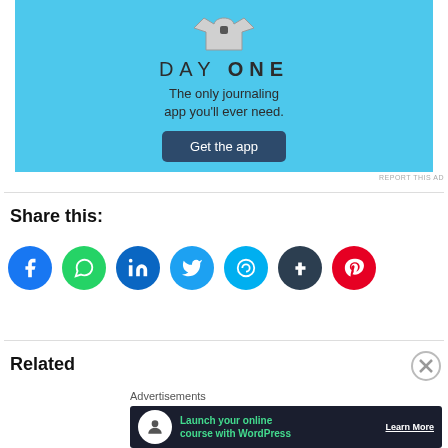[Figure (screenshot): Day One journaling app advertisement with blue background, t-shirt graphic, title 'DAY ONE', subtitle 'The only journaling app you'll ever need.', and a 'Get the app' button.]
REPORT THIS AD
Share this:
[Figure (infographic): Social media sharing icons: Facebook (blue), WhatsApp (green), LinkedIn (blue), Twitter (cyan), Skype (light blue), Tumblr (dark navy), Pinterest (red).]
Related
Advertisements
[Figure (screenshot): Advertisement banner: 'Launch your online course with WordPress' with 'Learn More' button on dark background.]